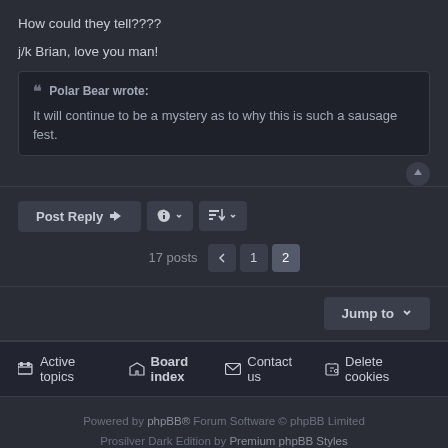How could they tell????
j/k Brian, love you man!
Polar Bear wrote:
It will continue to be a mystery as to why this is such a sausage fest.
Post Reply | tools | sort | 17 posts  < 1 2
Jump to
Active topics  Board index  Contact us  Delete cookies
Powered by phpBB® Forum Software © phpBB Limited
Prosilver Dark Edition by Premium phpBB Styles
Privacy | Terms